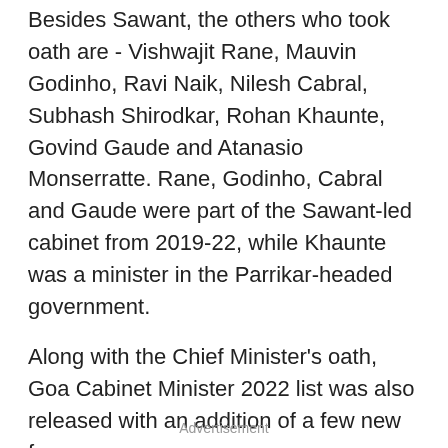Besides Sawant, the others who took oath are - Vishwajit Rane, Mauvin Godinho, Ravi Naik, Nilesh Cabral, Subhash Shirodkar, Rohan Khaunte, Govind Gaude and Atanasio Monserratte. Rane, Godinho, Cabral and Gaude were part of the Sawant-led cabinet from 2019-22, while Khaunte was a minister in the Parrikar-headed government.
Along with the Chief Minister's oath, Goa Cabinet Minister 2022 list was also released with an addition of a few new faces.
This is his second consecutive term as CM. He became the chief minister for the first time in March 2019 after the demise of then chief minister Manohar Parrikar.
Advertisement